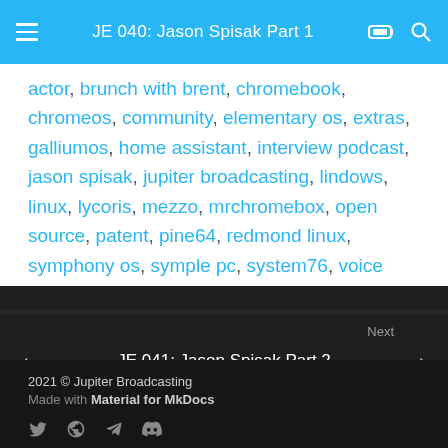JE 040: Jason Spisak Part 1
actor, brunch with brent, chromebook, chromeos, community, elementary os, extras, galliumos, home assistant, interview podcast, jason spisak, jupiter broadcasting, lindows, linux, lycoris, mezzo, mrchromebox, open source, patent, pine64, redmond linux, symphony os, symple pc, system76, voice actor, voice-over, wireguard
Next
JE 041: Jason Spisak Part 2
2021 © Jupiter Broadcasting
Made with Material for MkDocs